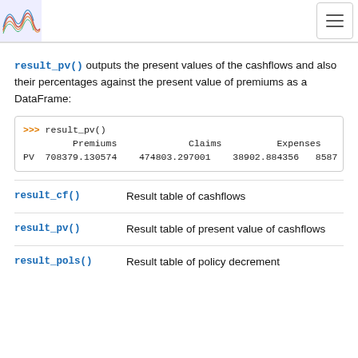result_pv() outputs the present values of the cashflows and also their percentages against the present value of premiums as a DataFrame:
[Figure (screenshot): Code block showing: >>> result_pv() with output table columns Premiums, Claims, Expenses, Com... and row PV 708379.130574 474803.297001 38902.884356 8587...]
result_cf() — Result table of cashflows
result_pv() — Result table of present value of cashflows
result_pols() — Result table of policy decrement